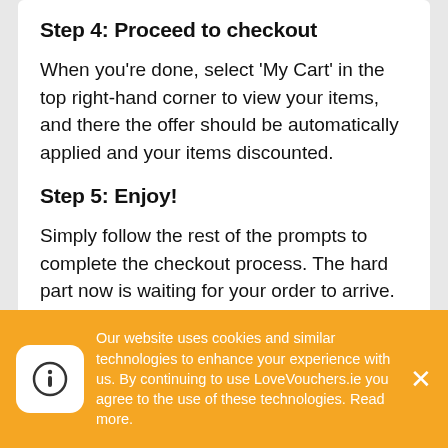Step 4: Proceed to checkout
When you’re done, select ‘My Cart’ in the top right-hand corner to view your items, and there the offer should be automatically applied and your items discounted.
Step 5: Enjoy!
Simply follow the rest of the prompts to complete the checkout process. The hard part now is waiting for your order to arrive. Happy Saving!
Extra Things You Need To Know About
Our website uses cookies and similar technologies to enhance your experience with us. By continuing to use LoveVouchers.ie you agree to the use of these technologies. Read more.